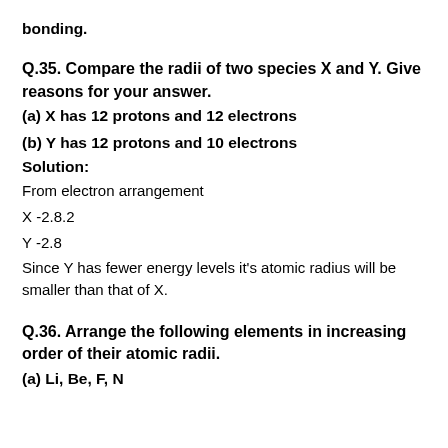bonding.
Q.35. Compare the radii of two species X and Y. Give reasons for your answer.
(a) X has 12 protons and 12 electrons
(b) Y has 12 protons and 10 electrons
Solution:
From electron arrangement
X -2.8.2
Y -2.8
Since Y has fewer energy levels it's atomic radius will be smaller than that of X.
Q.36. Arrange the following elements in increasing order of their atomic radii.
(a) Li, Be, F, N